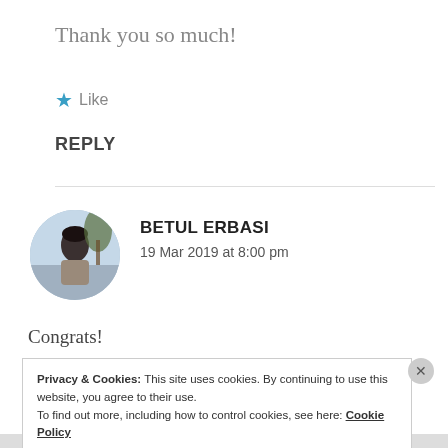Thank you so much!
★ Like
REPLY
BETUL ERBASI
19 Mar 2019 at 8:00 pm
Congrats!
Privacy & Cookies: This site uses cookies. By continuing to use this website, you agree to their use.
To find out more, including how to control cookies, see here: Cookie Policy
Close and accept